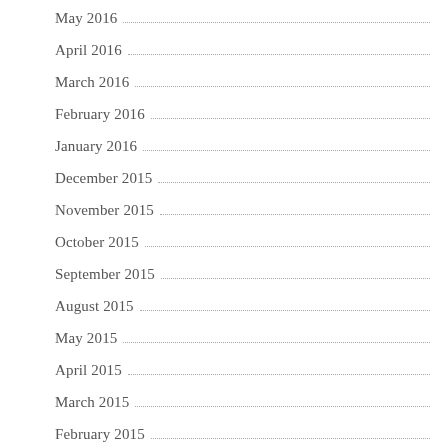May 2016
April 2016
March 2016
February 2016
January 2016
December 2015
November 2015
October 2015
September 2015
August 2015
May 2015
April 2015
March 2015
February 2015
January 2015